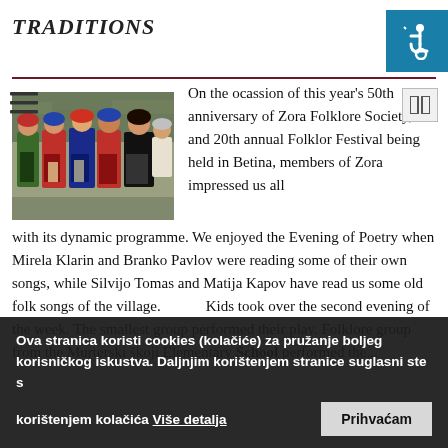TRADITIONS
[Figure (photo): Group of women in traditional folk costumes, smiling outdoors near a stone wall.]
On the ocassion of this year's 50th anniversary of Zora Folklore Society, and 20th annual Folklore Festival being held in Betina, members of Zora impressed us all with its dynamic programme. We enjoyed the Evening of Poetry when Mirela Klarin and Branko Pavlov were reading some of their own songs, while Silvijo Tomas and Matija Kapov have read us some old folk songs of the village. Kids took over the second evening of the week. The smallest group performed their play. Folklore group from the Murterski škoji Elementary School performed the...
Ova stranica koristi cookies (kolačiće) za pružanje boljeg korisničkog iskustva. Daljnjim korištenjem stranice suglasni ste s korištenjem kolačića Više detalja Prihvaćam